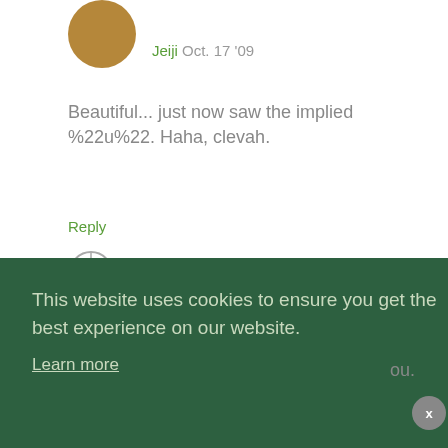Jeiji Oct. 17 '09
Beautiful... just now saw the implied %22u%22. Haha, clevah.
Reply
[Figure (other): Globe/help icon in a circle]
[Figure (photo): Avatar photo of second commenter, partially visible]
This website uses cookies to ensure you get the best experience on our website.
Learn more
ou.